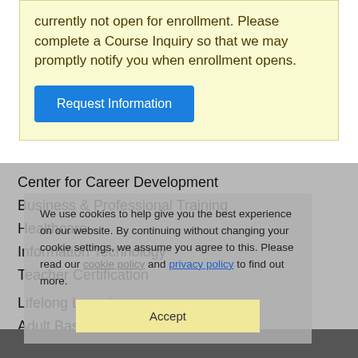currently not open for enrollment. Please complete a Course Inquiry so that we may promptly notify you when enrollment opens.
Request Information
Center for Career Development
Business & Professional Training
Healthcare
Information Technology
Teacher Certification
Lifelong Learning
Adult Basic Education
Business Services
Community Class...
We use cookies to help give you the best experience on our website. By continuing without changing your cookie settings, we assume you agree to this. Please read our cookie policy and privacy policy to find out more.
Accept